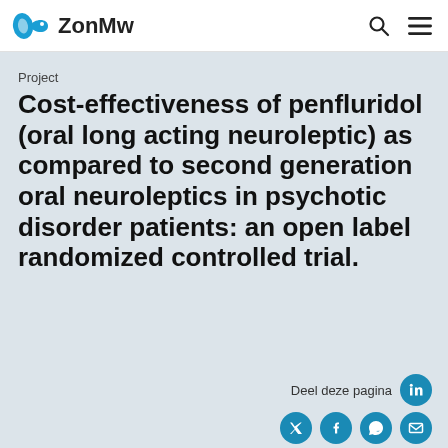ZonMw
Project
Cost-effectiveness of penfluridol (oral long acting neuroleptic) as compared to second generation oral neuroleptics in psychotic disorder patients: an open label randomized controlled trial.
Deel deze pagina
Verslagen